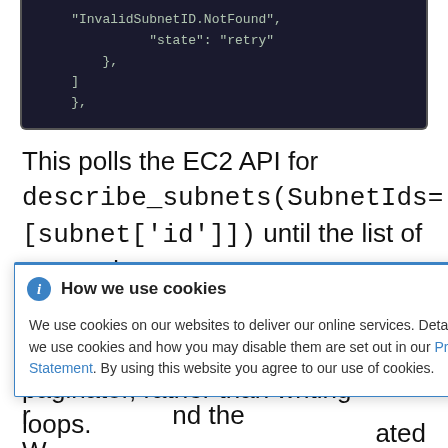[Figure (screenshot): Dark-background code block showing JSON-like syntax with 'InvalidSubnetID.NotFound', 'state': 'retry', closing braces and brackets]
This polls the EC2 API for describe_subnets(SubnetIds=[subnet['id']]) until the list of returned subnets is not empty before proceeding. If a subnet is not found is raised and the WaitConditionError is raised. Until paginated results are detected the code uses the paginator, rather than writing loops.
How we use cookies — We use cookies on our websites to deliver our online services. Details about how we use cookies and how you may disable them are set out in our Privacy Statement. By using this website you agree to our use of cookies.
paginator, rather than writing loops.